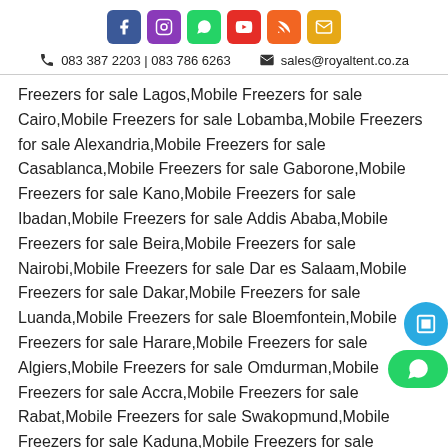083 387 2203 | 083 786 6263   sales@royaltent.co.za
Freezers for sale Lagos,Mobile Freezers for sale Cairo,Mobile Freezers for sale Lobamba,Mobile Freezers for sale Alexandria,Mobile Freezers for sale Casablanca,Mobile Freezers for sale Gaborone,Mobile Freezers for sale Kano,Mobile Freezers for sale Ibadan,Mobile Freezers for sale Addis Ababa,Mobile Freezers for sale Beira,Mobile Freezers for sale Nairobi,Mobile Freezers for sale Dar es Salaam,Mobile Freezers for sale Dakar,Mobile Freezers for sale Luanda,Mobile Freezers for sale Bloemfontein,Mobile Freezers for sale Harare,Mobile Freezers for sale Algiers,Mobile Freezers for sale Omdurman,Mobile Freezers for sale Accra,Mobile Freezers for sale Rabat,Mobile Freezers for sale Swakopmund,Mobile Freezers for sale Kaduna,Mobile Freezers for sale Khartoum,Mobile Freezers for sale Douala,Mobile Freezers for sale Lusaka,Mobile Freezers for sale Gweru,Mobile Freezers for sale Maputo,Mobile Freezers for sale Windhoek,Mobile Freezers for sale Port Harcourt,Mobile Freezers for sale Maseru,Mobile Freezers for sale Freetown,Mobile Freezers for sale Lilongwe,Mobile Freezers for sale Maiduguri,Mobile Freezers for sale Kampala,Mobile Freezers for sale